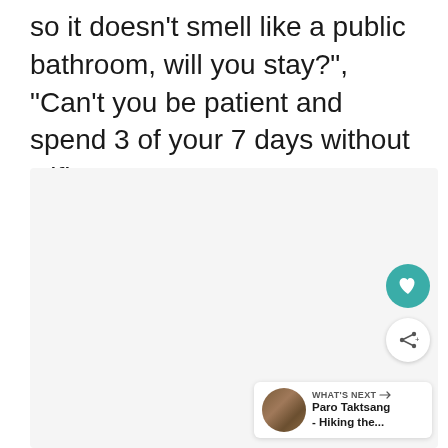so it doesn't smell like a public bathroom, will you stay?", “Can’t you be patient and spend 3 of your 7 days without wifi?”
[Figure (other): Light gray placeholder image area with like (heart) button, share button, and a 'What's Next' card showing Paro Taktsang - Hiking the... article preview]